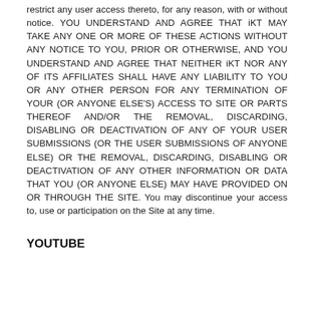restrict any user access thereto, for any reason, with or without notice. YOU UNDERSTAND AND AGREE THAT iKT MAY TAKE ANY ONE OR MORE OF THESE ACTIONS WITHOUT ANY NOTICE TO YOU, PRIOR OR OTHERWISE, AND YOU UNDERSTAND AND AGREE THAT NEITHER iKT NOR ANY OF ITS AFFILIATES SHALL HAVE ANY LIABILITY TO YOU OR ANY OTHER PERSON FOR ANY TERMINATION OF YOUR (OR ANYONE ELSE'S) ACCESS TO SITE OR PARTS THEREOF AND/OR THE REMOVAL, DISCARDING, DISABLING OR DEACTIVATION OF ANY OF YOUR USER SUBMISSIONS (OR THE USER SUBMISSIONS OF ANYONE ELSE) OR THE REMOVAL, DISCARDING, DISABLING OR DEACTIVATION OF ANY OTHER INFORMATION OR DATA THAT YOU (OR ANYONE ELSE) MAY HAVE PROVIDED ON OR THROUGH THE SITE. You may discontinue your access to, use or participation on the Site at any time.
YOUTUBE